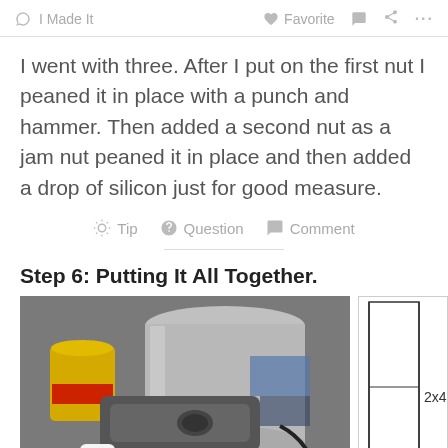I Made It   Favorite   Comment   Share   ...
I went with three. After I put on the first nut I peaned it in place with a punch and hammer. Then added a second nut as a jam nut peaned it in place and then added a drop of silicon just for good measure.
Tip   Question   Comment
Step 6: Putting It All Together.
[Figure (photo): Photo of a bucket and metal bracket/base plate on a workbench with tools and supplies in background]
[Figure (engineering-diagram): Partial engineering diagram showing a vertical structure labeled 2x4]